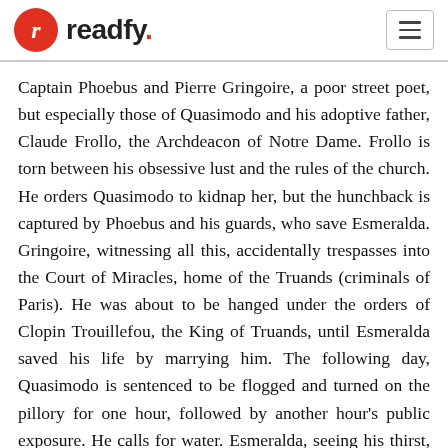readfy.
Captain Phoebus and Pierre Gringoire, a poor street poet, but especially those of Quasimodo and his adoptive father, Claude Frollo, the Archdeacon of Notre Dame. Frollo is torn between his obsessive lust and the rules of the church. He orders Quasimodo to kidnap her, but the hunchback is captured by Phoebus and his guards, who save Esmeralda. Gringoire, witnessing all this, accidentally trespasses into the Court of Miracles, home of the Truands (criminals of Paris). He was about to be hanged under the orders of Clopin Trouillefou, the King of Truands, until Esmeralda saved his life by marrying him. The following day, Quasimodo is sentenced to be flogged and turned on the pillory for one hour, followed by another hour's public exposure. He calls for water. Esmeralda, seeing his thirst, offers him a drink. It saves him, and she captures his heart...